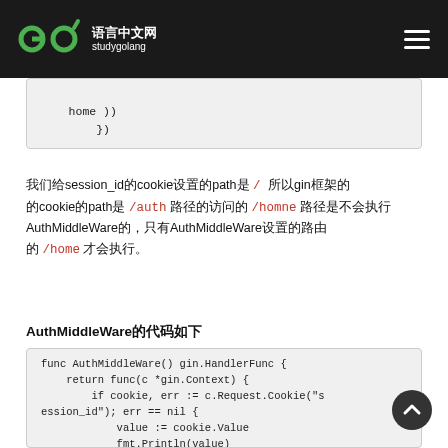Go语言中文网 studygolang
home ))\n    })
我们给session_id的cookie设置的path是 / 所以gin框架的cookie的path是 /auth 路径的访问的 /homne 路径是不会执行AuthMiddleWare的，只有AuthMiddleWare设置的路由 /home 才会执行。
AuthMiddleWare的代码如下
func AuthMiddleWare() gin.HandlerFunc {
    return func(c *gin.Context) {
        if cookie, err := c.Request.Cookie("session_id"); err == nil {
            value := cookie.Value
            fmt.Println(value)
            if value == "123" {
                c.Next()
                return
            }
        }